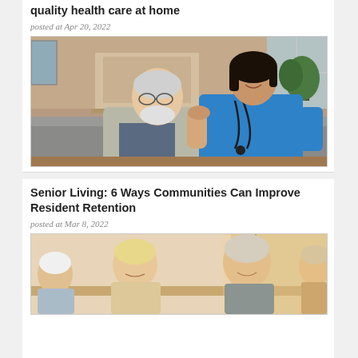quality health care at home
posted at Apr 20, 2022
[Figure (photo): An elderly man with white beard wearing a grey cardigan sits on a sofa beside a smiling young female nurse in blue scrubs with a stethoscope, her hand on his shoulder.]
Senior Living: 6 Ways Communities Can Improve Resident Retention
posted at Mar 8, 2022
[Figure (photo): Group of elderly people, including a woman with blonde hair and a man with grey hair, sitting together indoors near a window in a senior living community setting.]